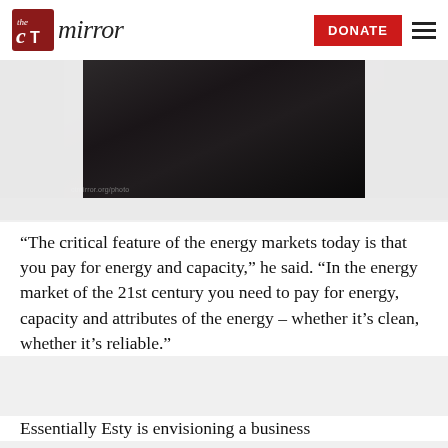the CT mirror — DONATE
[Figure (photo): Dark photograph, mostly black tones, appears to show hands or a person in very low light.]
“The critical feature of the energy markets today is that you pay for energy and capacity,” he said. “In the energy market of the 21st century you need to pay for energy, capacity and attributes of the energy – whether it’s clean, whether it’s reliable.”
Essentially Esty is envisioning a business